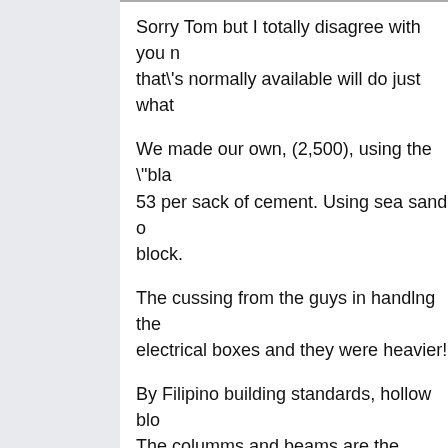Sorry Tom but I totally disagree with you n that\'s normally available will do just what
We made our own, (2,500), using the \"bla 53 per sack of cement. Using sea sand o block.
The cussing from the guys in handlng the electrical boxes and they were heavier!
By Filipino building standards, hollow blo The columms and beams are the building dividers.
Over spec your foundation, columms, bea reguardless what hollow blocks you use d installed and finishing. The Pinoy standar with the cheap hollow block and that\'s go effects and there\'s been a few shakers to here. We are building on an island ya kno
With my, \"foreign better ideas/demands\" Pinoy block house fall down or fall apart y lived in or completed for YEARS. Some lo blocks and don\'t even have a bound hea